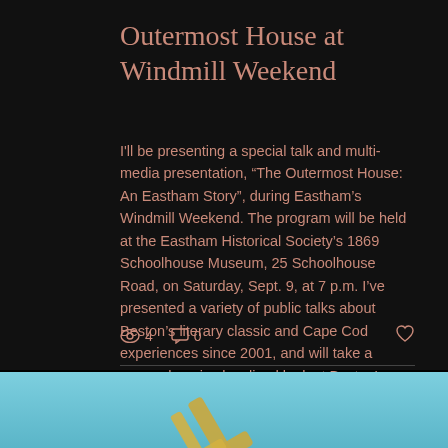Outermost House at Windmill Weekend
I'll be presenting a special talk and multi-media presentation, “The Outermost House: An Eastham Story”, during Eastham’s Windmill Weekend. The program will be held at the Eastham Historical Society’s 1869 Schoolhouse Museum, 25 Schoolhouse Road, on Saturday, Sept. 9, at 7 p.m. I’ve presented a variety of public talks about Beston’s literary classic and Cape Cod experiences since 2001, and will take a comprehensive localized look at Beston's ultimate Cape Cod experience. For
[Figure (photo): Photo of a gold metallic cross or check mark shape against a light blue sky background]